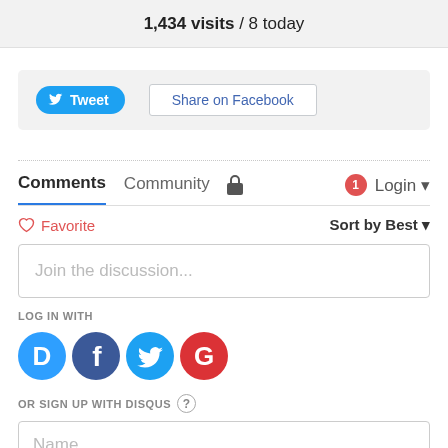1,434 visits / 8 today
[Figure (screenshot): Social share buttons: Tweet button (blue, Twitter bird icon) and Share on Facebook button (white with border)]
Comments  Community  🔒  1  Login ▾
♡ Favorite
Sort by Best ▾
Join the discussion...
LOG IN WITH
[Figure (logo): Four social login icons: Disqus (blue circle D), Facebook (dark blue circle f), Twitter (light blue circle bird), Google (red circle G)]
OR SIGN UP WITH DISQUS ?
Name